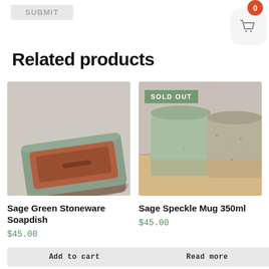SUBMIT
[Figure (illustration): Shopping cart icon with orange badge showing 0 items]
Related products
[Figure (photo): Sage Green Stoneware Soapdish ceramic product photo on linen background]
[Figure (photo): Sage Speckle Mug 350ml - two ceramic mugs with sage green and speckle glaze, SOLD OUT badge overlay]
Sage Green Stoneware Soapdish
$45.00
Sage Speckle Mug 350ml
$45.00
Add to cart
Read more